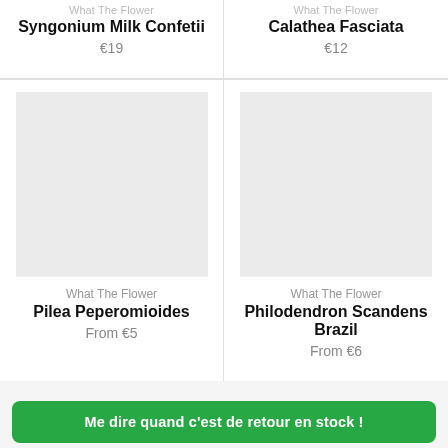What The Flower
Syngonium Milk Confetii
€19
What The Flower
Calathea Fasciata
€12
[Figure (photo): Plant product image placeholder (light gray box) for Pilea Peperomioides]
What The Flower
Pilea Peperomioides
From €5
[Figure (photo): Plant product image placeholder (light gray box) for Philodendron Scandens Brazil]
What The Flower
Philodendron Scandens Brazil
From €6
Me dire quand c'est de retour en stock !